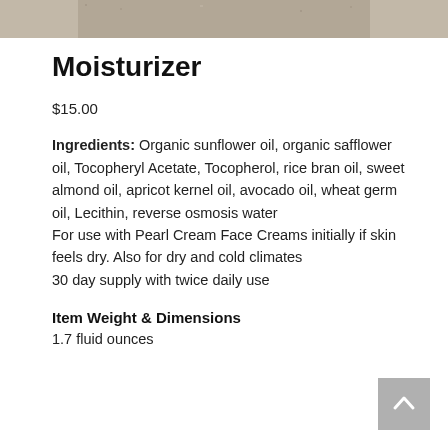[Figure (photo): Partial photo strip at top of page showing a sandy/textured surface]
Moisturizer
$15.00
Ingredients: Organic sunflower oil, organic safflower oil, Tocopheryl Acetate, Tocopherol, rice bran oil, sweet almond oil, apricot kernel oil, avocado oil, wheat germ oil, Lecithin, reverse osmosis water
For use with Pearl Cream Face Creams initially if skin feels dry. Also for dry and cold climates
30 day supply with twice daily use
Item Weight & Dimensions
1.7 fluid ounces